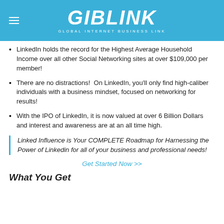GIBLINK GLOBAL INTERNET BUSINESS LINK
LinkedIn holds the record for the Highest Average Household Income over all other Social Networking sites at over $109,000 per member!
There are no distractions!  On LinkedIn, you'll only find high-caliber individuals with a business mindset, focused on networking for results!
With the IPO of LinkedIn, it is now valued at over 6 Billion Dollars and interest and awareness are at an all time high.
Linked Influence is Your COMPLETE Roadmap for Harnessing the Power of Linkedin for all of your business and professional needs!
Get Started Now >>
What You Get